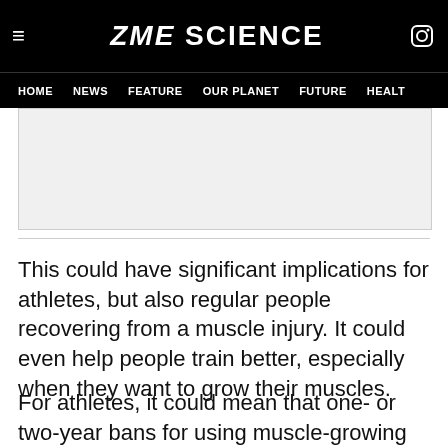ZME SCIENCE
HOME   NEWS   FEATURE   OUR PLANET   FUTURE   HEALTH
[Figure (other): Gray advertisement placeholder box]
This could have significant implications for athletes, but also regular people recovering from a muscle injury. It could even help people train better, especially when they want to grow their muscles.
For athletes, it could mean that one- or two-year bans for using muscle-growing pills are simply not long enough. Because the effects